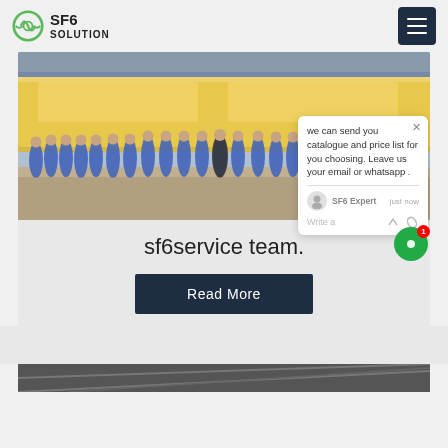SF6 SOLUTION
[Figure (photo): Group photo of SF6 service team in blue uniforms standing in front of yellow branded trucks outdoors]
[Figure (screenshot): Chat popup overlay saying: we can send you catalogue and price list for you choosing. Leave us your email or whatsapp. SF6 Expert just now. Write a [thumbs up] [paperclip]]
sf6service team.
Read More